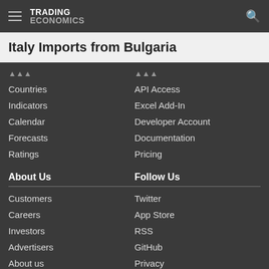TRADING ECONOMICS
Italy Imports from Bulgaria
Countries
Indicators
Calendar
Forecasts
Ratings
API Access
Excel Add-In
Developer Account
Documentation
Pricing
About Us
Customers
Careers
Investors
Advertisers
About us
Follow Us
Twitter
App Store
RSS
GitHub
Privacy
Copyright ©2022 TRADING ECONOMICS
All Rights Reserved